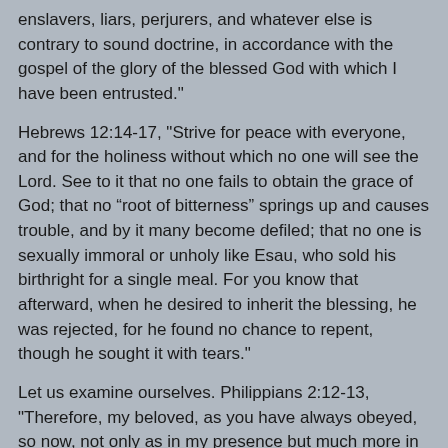enslavers, liars, perjurers, and whatever else is contrary to sound doctrine, in accordance with the gospel of the glory of the blessed God with which I have been entrusted."
Hebrews 12:14-17, "Strive for peace with everyone, and for the holiness without which no one will see the Lord. See to it that no one fails to obtain the grace of God; that no “root of bitterness” springs up and causes trouble, and by it many become defiled; that no one is sexually immoral or unholy like Esau, who sold his birthright for a single meal. For you know that afterward, when he desired to inherit the blessing, he was rejected, for he found no chance to repent, though he sought it with tears."
Let us examine ourselves. Philippians 2:12-13, "Therefore, my beloved, as you have always obeyed, so now, not only as in my presence but much more in my absence, work out your own salvation with fear and trembling, for it is God who works in you, both to will and to work for his good pleasure."
Luke at 2:20 AM    2 comments:
Share